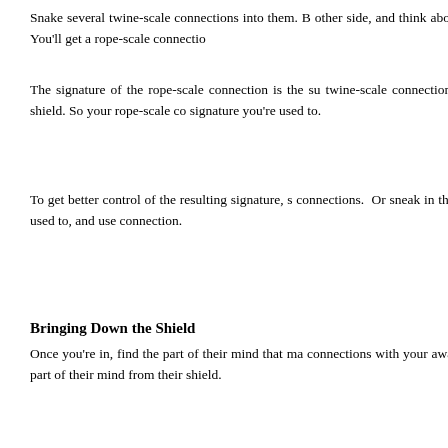Snake several twine-scale connections into them. B... other side, and think about joining them, braiding them... makes sense to you. You'll get a rope-scale connectio...
The signature of the rope-scale connection is the su... twine-scale connections. Those signatures are dete... opponent left in their shield. So your rope-scale co... signature you're used to.
To get better control of the resulting signature, s... connections. Or sneak in thread-scale conne... connections similar to what you're used to, and use... connection.
Bringing Down the Shield
Once you're in, find the part of their mind that ma... connections with your awareness. Resist their... connections. This will stop that part of their mind from... their shield.
What About Walls?
Visualizations tell you to imagine an "impenetrable w... such a thing?
Sorry, just because imagine something as impena... Visualizations tell your unconscious what magick to...